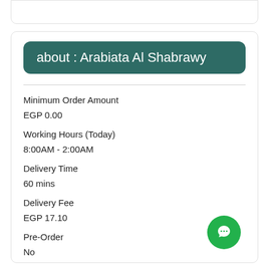about : Arabiata Al Shabrawy
Minimum Order Amount
EGP 0.00
Working Hours (Today)
8:00AM - 2:00AM
Delivery Time
60 mins
Delivery Fee
EGP 17.10
Pre-Order
No